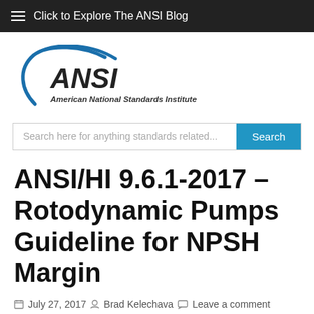≡  Click to Explore The ANSI Blog
[Figure (logo): ANSI logo — American National Standards Institute — blue arc swoosh with bold ANSI text and italic subtitle]
Search here for anything standards related...
ANSI/HI 9.6.1-2017 – Rotodynamic Pumps Guideline for NPSH Margin
July 27, 2017   Brad Kelechava   Leave a comment